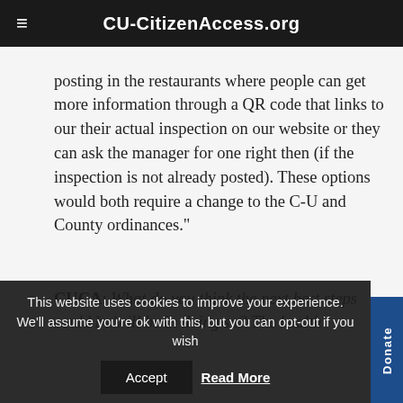CU-CitizenAccess.org
posting in the restaurants where people can get more information through a QR code that links to our their actual inspection on our website or they can ask the manager for one right then (if the inspection is not already posted).  These options would both require a change to the C-U and County ordinances."
CUCA: What do you think the next best steps could be/will be in doing so? The health
This website uses cookies to improve your experience. We'll assume you're ok with this, but you can opt-out if you wish